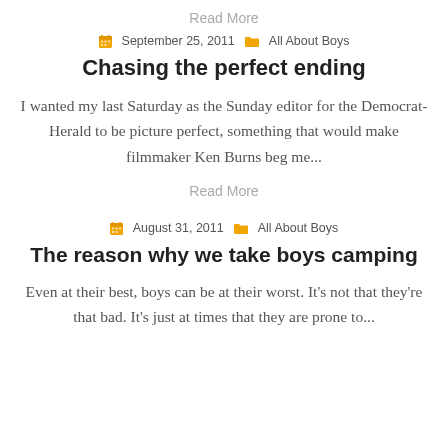Read More
September 25, 2011   All About Boys
Chasing the perfect ending
I wanted my last Saturday as the Sunday editor for the Democrat-Herald to be picture perfect, something that would make filmmaker Ken Burns beg me...
Read More
August 31, 2011   All About Boys
The reason why we take boys camping
Even at their best, boys can be at their worst. It's not that they're that bad. It's just at times that they are prone to...